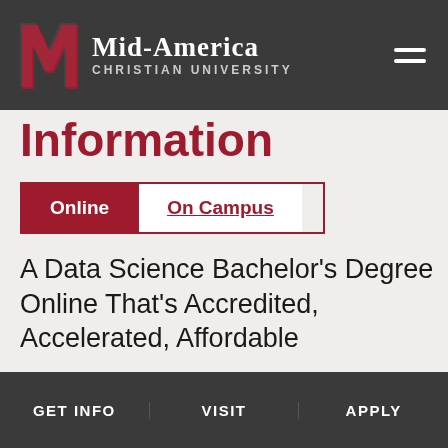Mid-America Christian University
Information
Online | On Campus
A Data Science Bachelor’s Degree Online That’s Accredited, Accelerated, Affordable
GET INFO   VISIT   APPLY